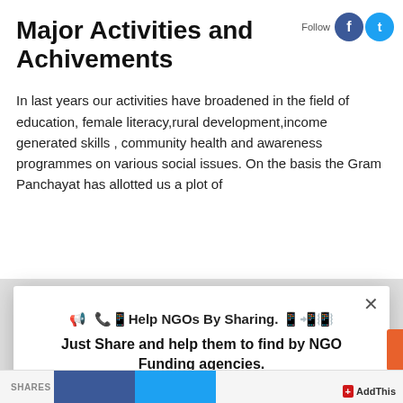Major Activities and Achivements
In last years our activities have broadened in the field of education, female literacy,rural development,income generated skills , community health and awareness programmes on various social issues. On the basis the Gram Panchayat has allotted us a plot of
[Figure (screenshot): Social sharing modal popup with headline 'Help NGOs By Sharing.' and subtext 'Just Share and help them to find by NGO Funding agencies.' with Facebook, Twitter, LinkedIn, Pinterest, Email, and More share buttons]
SHARES  AddThis